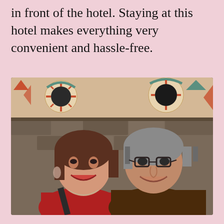in front of the hotel. Staying at this hotel makes everything very convenient and hassle-free.
[Figure (photo): A smiling couple posing together indoors in front of a stone fireplace with decorative Native American-style artwork on the wall above. The woman on the left has brown shoulder-length hair, red top, and is wearing earrings and a necklace. The man on the right has gray hair, glasses, and a dark brown polo shirt.]